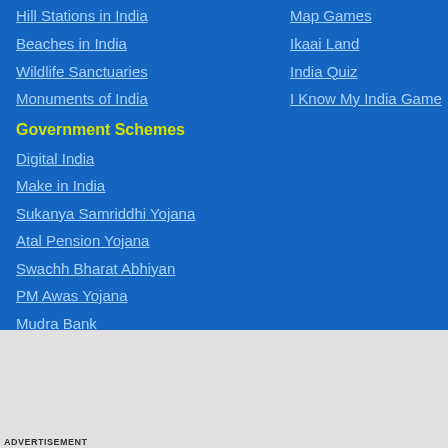Hill Stations in India
Map Games
Beaches in India
Ikaai Land
Wildlife Sanctuaries
India Quiz
Monuments of India
I Know My India Game
Government Schemes
Digital India
Make in India
Sukanya Samriddhi Yojana
Atal Pension Yojana
Swachh Bharat Abhiyan
PM Awas Yojana
Mudra Bank
Pradhan Mantri Kaushal Vikas Yojana
Upcoming Elections in India
Testimonials | Sponsors Directory | Disclaimer | FAQs | Our Affiliates | Suggest a Map | Become Our Sponsor | Copyright & Terms of Use | Privacy Policy | About Us | Contact Us | Feedback | Careers | Site Map | Link to